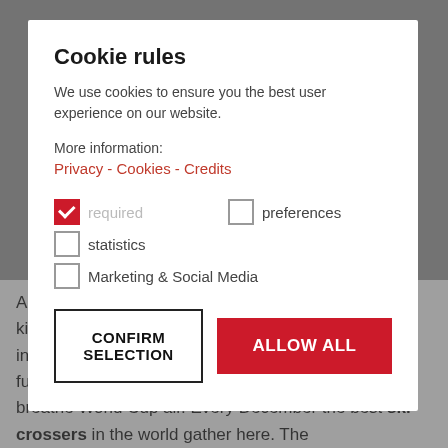Cookie rules
We use cookies to ensure you the best user experience on our website.
More information:
Privacy - Cookies - Credits
☑ required   ☐ preferences
☐ statistics
☐ Marketing & Social Media
CONFIRM SELECTION   ALLOW ALL
A kids ski cross run with 6 curves, 12 waves and 4 kickers at the Untertal lift of Baranci breathes new life into the freestyle scene. At last freestylers can have fun on the legendary ski cross World Cup piste and breathe World Cup air. Every December the best ski crossers in the world gather here. The